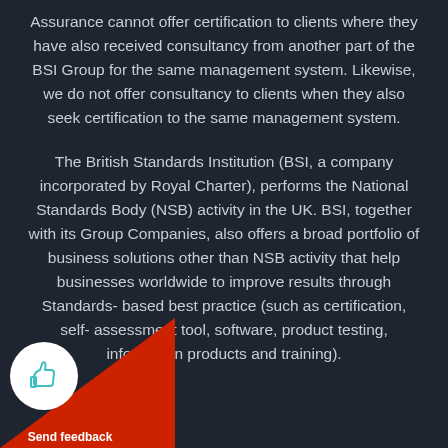Assurance cannot offer certification to clients where they have also received consultancy from another part of the BSI Group for the same management system. Likewise, we do not offer consultancy to clients when they also seek certification to the same management system.
The British Standards Institution (BSI, a company incorporated by Royal Charter), performs the National Standards Body (NSB) activity in the UK. BSI, together with its Group Companies, also offers a broad portfolio of business solutions other than NSB activity that help businesses worldwide to improve results through Standards-based best practice (such as certification, self-assessment tool, software, product testing, information products and training).